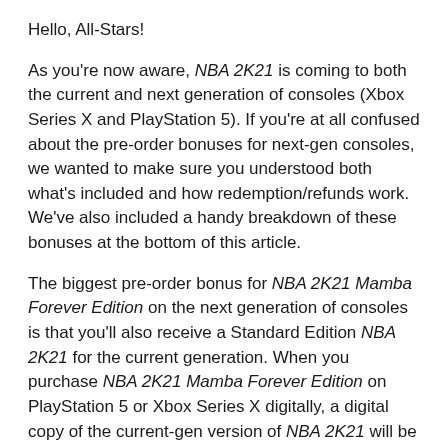Hello, All-Stars!
As you're now aware, NBA 2K21 is coming to both the current and next generation of consoles (Xbox Series X and PlayStation 5). If you're at all confused about the pre-order bonuses for next-gen consoles, we wanted to make sure you understood both what's included and how redemption/refunds work. We've also included a handy breakdown of these bonuses at the bottom of this article.
The biggest pre-order bonus for NBA 2K21 Mamba Forever Edition on the next generation of consoles is that you'll also receive a Standard Edition NBA 2K21 for the current generation. When you purchase NBA 2K21 Mamba Forever Edition on PlayStation 5 or Xbox Series X digitally, a digital copy of the current-gen version of NBA 2K21 will be added to the same PlayStation or Xbox account. It will be playable on your console once NBA 2K21 launches on September 4.
NOTE: Depending on the content of your pre-order details...